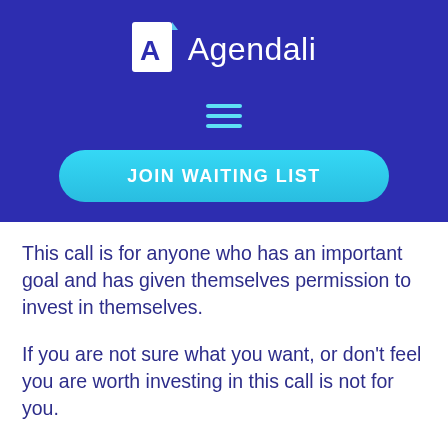[Figure (logo): Agendali logo: white document icon with blue 'A' letter and white text 'Agendali' on dark blue background]
[Figure (infographic): Hamburger menu icon made of three horizontal cyan lines on dark blue background]
[Figure (infographic): Cyan rounded rectangle button with white bold text 'JOIN WAITING LIST']
This call is for anyone who has an important goal and has given themselves permission to invest in themselves.
If you are not sure what you want, or don't feel you are worth investing in this call is not for you.